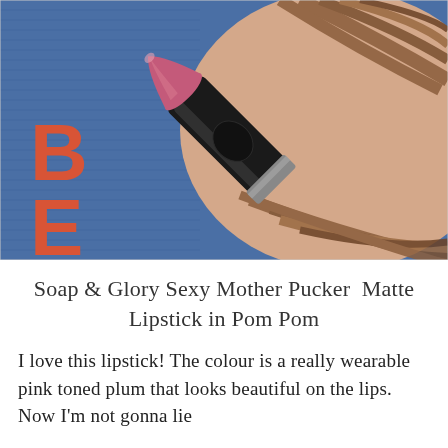[Figure (photo): Close-up photo of a black MAC-style lipstick tube with a pink/mauve lipstick bullet extended, resting against a person's face/neck area with brown hair visible, and a blue patterned fabric with orange 'BE' text visible in the background.]
Soap & Glory Sexy Mother Pucker  Matte Lipstick in Pom Pom
I love this lipstick! The colour is a really wearable pink toned plum that looks beautiful on the lips. Now I'm not gonna lie